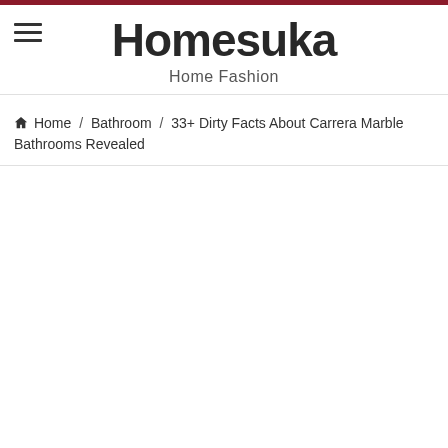Homesuka — Home Fashion
Home / Bathroom / 33+ Dirty Facts About Carrera Marble Bathrooms Revealed